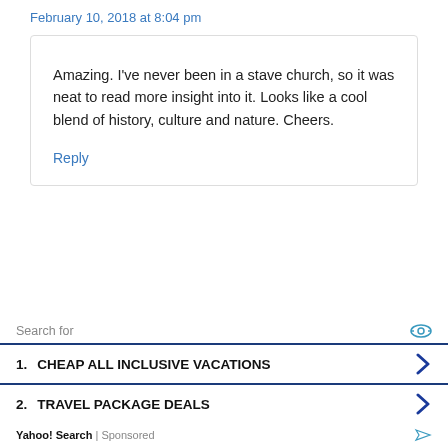February 10, 2018 at 8:04 pm
Amazing. I've never been in a stave church, so it was neat to read more insight into it. Looks like a cool blend of history, culture and nature. Cheers.
Reply
Search for
1.  CHEAP ALL INCLUSIVE VACATIONS
2.  TRAVEL PACKAGE DEALS
Yahoo! Search | Sponsored